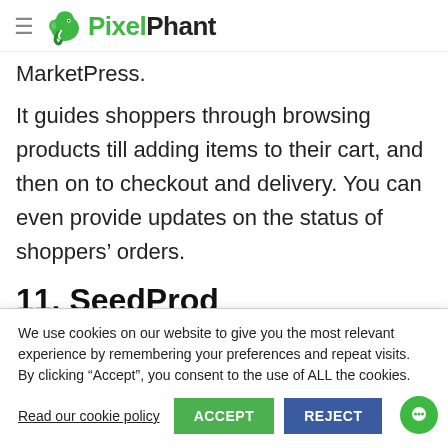PixelPhant (logo with hamburger menu)
MarketPress.
It guides shoppers through browsing products till adding items to their cart, and then on to checkout and delivery. You can even provide updates on the status of shoppers’ orders.
11. SeedProd
We use cookies on our website to give you the most relevant experience by remembering your preferences and repeat visits. By clicking “Accept”, you consent to the use of ALL the cookies.
Read our cookie policy  ACCEPT  REJECT